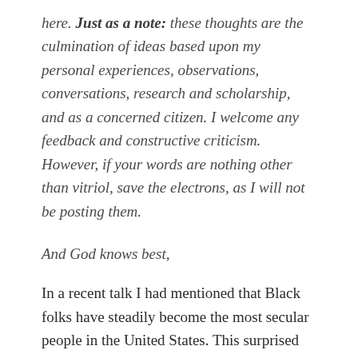here. Just as a note: these thoughts are the culmination of ideas based upon my personal experiences, observations, conversations, research and scholarship, and as a concerned citizen. I welcome any feedback and constructive criticism. However, if your words are nothing other than vitriol, save the electrons, as I will not be posting them.
And God knows best,
In a recent talk I had mentioned that Black folks have steadily become the most secular people in the United States. This surprised many people, especially other Black folks, who thought of themselves and other Black folks as being particularly religious. However, when I directed them